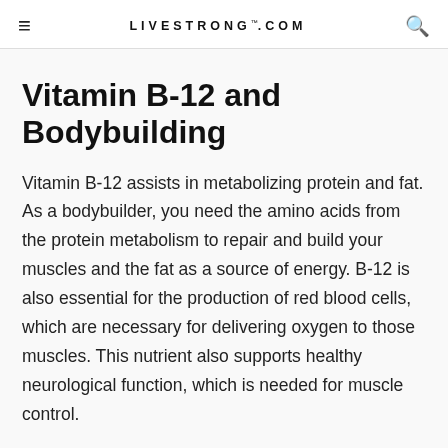LIVESTRONG.COM
Vitamin B-12 and Bodybuilding
Vitamin B-12 assists in metabolizing protein and fat. As a bodybuilder, you need the amino acids from the protein metabolism to repair and build your muscles and the fat as a source of energy. B-12 is also essential for the production of red blood cells, which are necessary for delivering oxygen to those muscles. This nutrient also supports healthy neurological function, which is needed for muscle control.
Advertisement